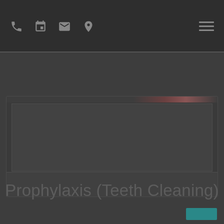[Figure (screenshot): Website navigation bar with phone, calendar, email, location icons and hamburger menu on dark background]
[Figure (photo): Dark image card showing a dental/medical treatment image with dark overlay]
Prophylaxis (Teeth Cleaning)